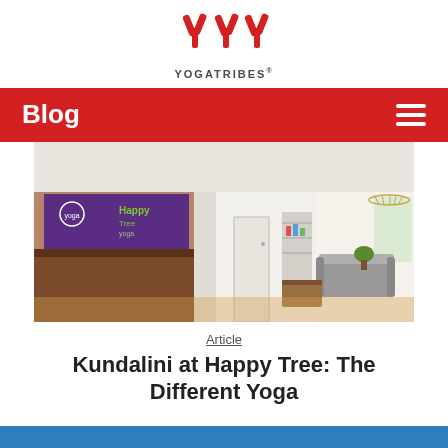[Figure (logo): YogaTribes logo with three Y letters in red and YOGATRIBES text below]
Blog
[Figure (photo): Interior of Happy Tree Yoga studio showing reception desk, purple banner with Happy Tree Yoga logo, white walls, wood floor, seating area, chandelier, and plants]
Article
Kundalini at Happy Tree: The Different Yoga